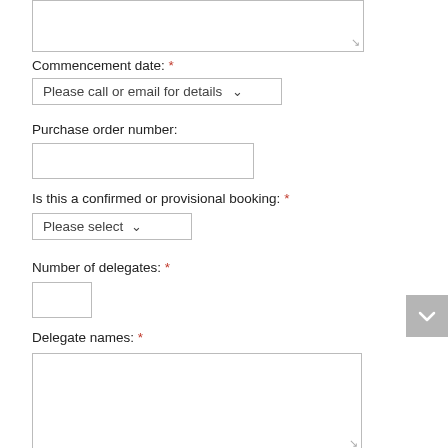Commencement date: *
Please call or email for details (dropdown)
Purchase order number:
Is this a confirmed or provisional booking: *
Please select (dropdown)
Number of delegates: *
Delegate names: *
Please tick the box below to confirm that you agree to the Privacy Policy of Sierra Training.